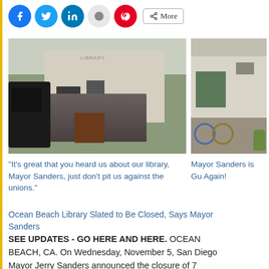[Figure (other): Social share bar with Facebook, Twitter, LinkedIn, Reddit, Pinterest icons and More button]
[Figure (photo): Press conference outside a library building with multiple people gathered around a podium, camera crew in foreground]
[Figure (photo): Exterior of a white building with bicycles parked outside]
“It’s great that you heard us about our library, Mayor Sanders, just don’t pit us against the unions.”
Mayor Sanders is Gu Again!
Ocean Beach Library Slated to Be Closed, Says Mayor Sanders
SEE UPDATES - GO HERE AND HERE. OCEAN BEACH, CA. On Wednesday, November 5, San Diego Mayor Jerry Sanders announced the closure of 7 libraries - including the Ocean Beach branch - and 9 rec centers and